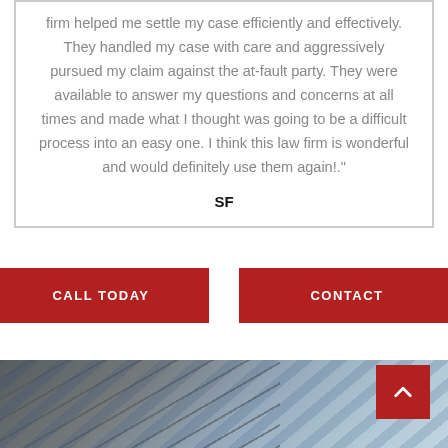firm helped me settle my case efficiently and effectively. They handled my case with care and aggressively pursued my claim against the at-fault party. They were available to answer my questions and concerns at all times and made what I thought was going to be a difficult process into an easy one. I think this law firm is wonderful and would definitely use them again!."
SF
[Figure (other): Red 'CALL TODAY' button]
[Figure (other): Red 'CONTACT' button]
[Figure (photo): Photo of a building with glass facade and diagonal structural lines, partially visible at the bottom of the page]